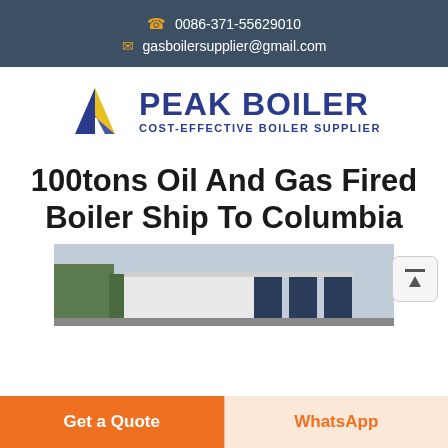0086-371-55629010 | gasboilersupplier@gmail.com
[Figure (logo): Peak Boiler logo with mountain/chevron icon in blue and yellow, company name PEAK BOILER in bold dark blue, tagline COST-EFFECTIVE BOILER SUPPLIER]
100tons Oil And Gas Fired Boiler Ship To Columbia
[Figure (photo): Exterior photo of industrial boiler facility building with white and dark blue panels, trees in background]